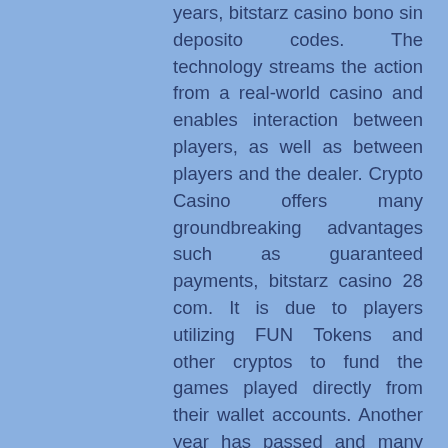years, bitstarz casino bono sin deposito codes. The technology streams the action from a real-world casino and enables interaction between players, as well as between players and the dealer. Crypto Casino offers many groundbreaking advantages such as guaranteed payments, bitstarz casino 28 com. It is due to players utilizing FUN Tokens and other cryptos to fund the games played directly from their wallet accounts. Another year has passed and many Counter-Strike: Global Offensive (CS:GO) Gambling websites have opened and closed their doors, bitstarz casino bono sin depósito codes 2021. Betting with CS:GO items has dramatically increased over the last year after the company Valve shut down many of the websites in June 2016. It's secure, private, user-friendly, and decentralized. Edge is also multi-purpose, which means that you can store several cryptocurrencies, bitstarz casino bono sin